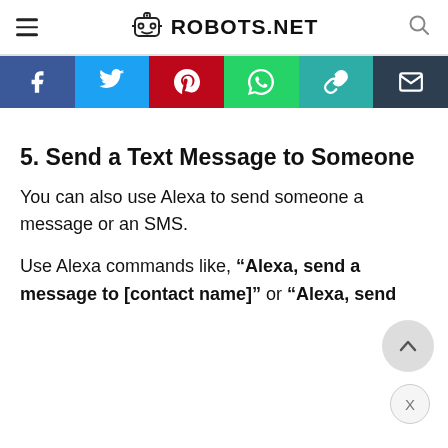ROBOTS.NET
[Figure (infographic): Social sharing bar with Facebook, Twitter, Pinterest, WhatsApp, Copy Link, and Email buttons]
5. Send a Text Message to Someone
You can also use Alexa to send someone a message or an SMS.
Use Alexa commands like, “Alexa, send a message to [contact name]” or “Alexa, send